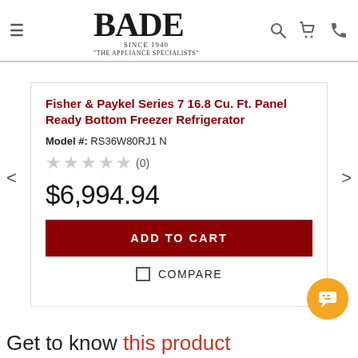BADE Since 1940 "The Appliance Specialists"
Fisher & Paykel Series 7 16.8 Cu. Ft. Panel Ready Bottom Freezer Refrigerator
Model #: RS36W80RJ1 N
★★★★★ (0)
$6,994.94
ADD TO CART
COMPARE
Get to know this product